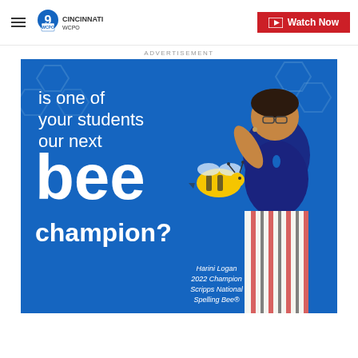WCPO 9 CINCINNATI — Watch Now
ADVERTISEMENT
[Figure (photo): Scripps National Spelling Bee advertisement showing Harini Logan, 2022 Champion, with text 'is one of your students our next bee champion?' on a blue background with hexagon decorations and a cartoon bee.]